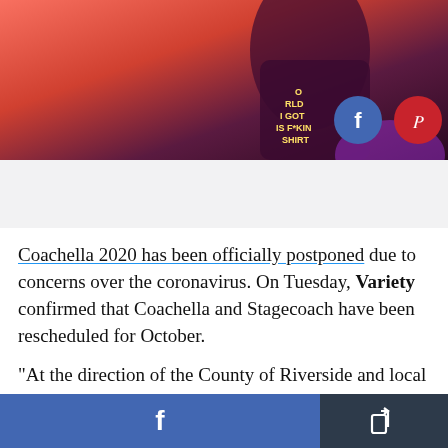[Figure (photo): Concert performer photo with orange/red/purple background and text on shirt reading 'I GOT THIS F*KIN SHIRT', with Facebook and Pinterest share buttons overlaid]
[Figure (other): Advertisement placeholder area, light gray background]
Coachella 2020 has been officially postponed due to concerns over the coronavirus. On Tuesday, Variety confirmed that Coachella and Stagecoach have been rescheduled for October.
"At the direction of the County of Riverside and local health authorities, we must sadly confirm the
[Figure (other): Bottom navigation bar with Facebook share button (blue) and generic share button (dark gray)]